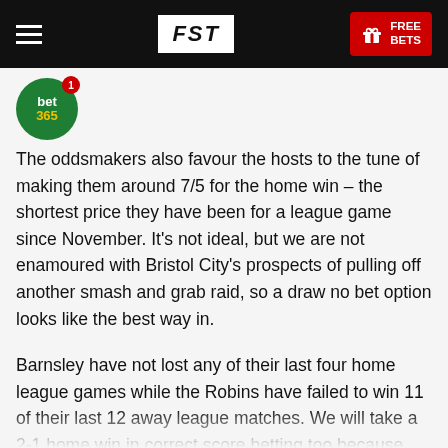FST | FREE BETS
[Figure (logo): bet365 circular green logo with red notification badge showing '1']
The oddsmakers also favour the hosts to the tune of making them around 7/5 for the home win – the shortest price they have been for a league game since November. It's not ideal, but we are not enamoured with Bristol City's prospects of pulling off another smash and grab raid, so a draw no bet option looks like the best way in.
Barnsley have not lost any of their last four home league games while the Robins have failed to win 11 of their last 12 away league matches. We will take a 2-1 home win in correct score betting too because Barnsley have failed to keep a clean sheet in eight of their last ten home league games and City have conceded at least two goals in 12 of their last 13 league